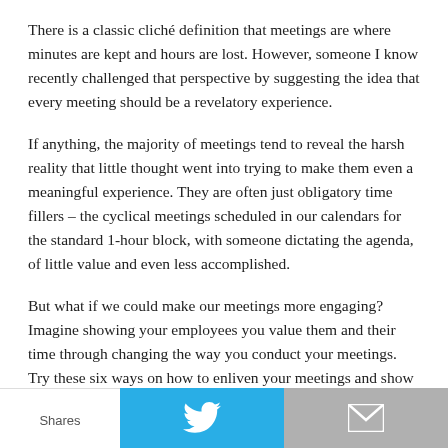There is a classic cliché definition that meetings are where minutes are kept and hours are lost. However, someone I know recently challenged that perspective by suggesting the idea that every meeting should be a revelatory experience.
If anything, the majority of meetings tend to reveal the harsh reality that little thought went into trying to make them even a meaningful experience. They are often just obligatory time fillers – the cyclical meetings scheduled in our calendars for the standard 1-hour block, with someone dictating the agenda, of little value and even less accomplished.
But what if we could make our meetings more engaging? Imagine showing your employees you value them and their time through changing the way you conduct your meetings. Try these six ways on how to enliven your meetings and show your people they matter. (more…)